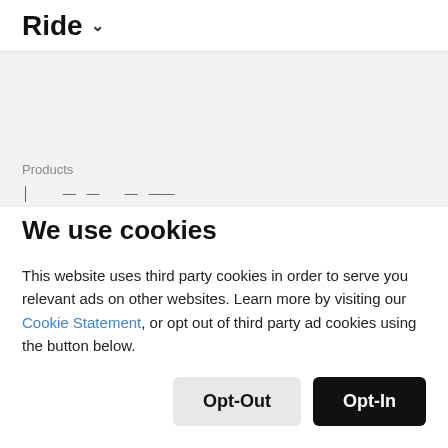Ride ▾
[Figure (screenshot): Gray panel with 'Products' label and partially visible truncated navigation text below]
We use cookies
This website uses third party cookies in order to serve you relevant ads on other websites. Learn more by visiting our Cookie Statement, or opt out of third party ad cookies using the button below.
Opt-Out
Opt-In